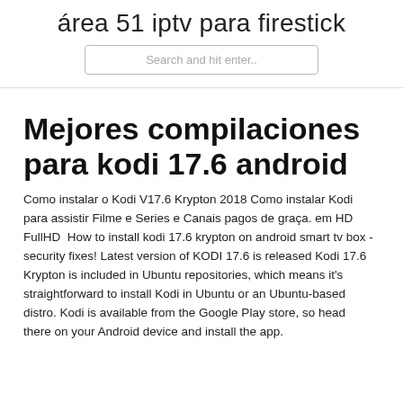área 51 iptv para firestick
Mejores compilaciones para kodi 17.6 android
Como instalar o Kodi V17.6 Krypton 2018 Como instalar Kodi para assistir Filme e Series e Canais pagos de graça. em HD FullHD  How to install kodi 17.6 krypton on android smart tv box - security fixes! Latest version of KODI 17.6 is released Kodi 17.6 Krypton is included in Ubuntu repositories, which means it's straightforward to install Kodi in Ubuntu or an Ubuntu-based distro. Kodi is available from the Google Play store, so head there on your Android device and install the app.